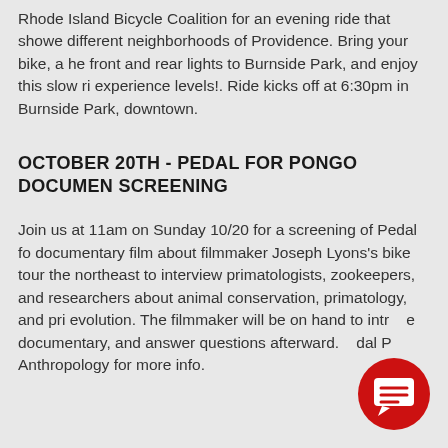Rhode Island Bicycle Coalition for an evening ride that showcases different neighborhoods of Providence. Bring your bike, a helmet, front and rear lights to Burnside Park, and enjoy this slow ride for all experience levels!. Ride kicks off at 6:30pm in Burnside Park, downtown.
OCTOBER 20TH - PEDAL FOR PONGO DOCUMENTARY SCREENING
Join us at 11am on Sunday 10/20 for a screening of Pedal for Pongo, a documentary film about filmmaker Joseph Lyons's bike tour through the northeast to interview primatologists, zookeepers, and primate researchers about animal conservation, primatology, and primate evolution. The filmmaker will be on hand to introduce the documentary, and answer questions afterwards. Pedal for Pongo Anthropology for more info.